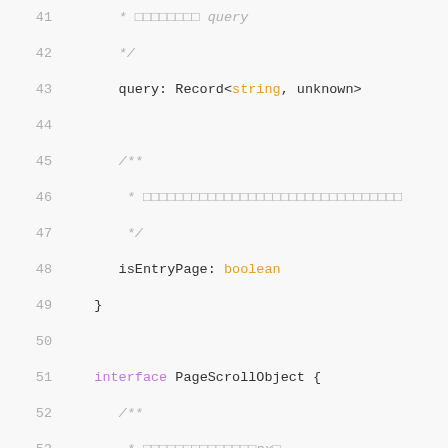[Figure (screenshot): TypeScript source code showing interface definitions with line numbers 41-58. Lines 41-49 show a query property of type Record<string, unknown> and isEntryPage of type boolean. Lines 51-56 define interface PageScrollObject with scrollTop of type number. Line 58 begins interface PageResizeObject.]